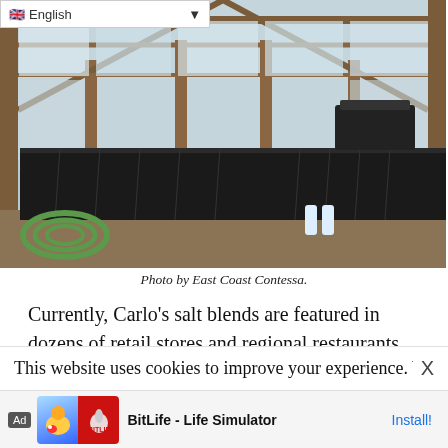[Figure (photo): Interior of a greenhouse with wooden frame, clear polycarbonate panels on roof, raised growing beds covered with black plastic sheeting, a green garden hose coiled on the left, and a black container on a shelf to the right.]
Photo by East Coast Contessa.
Currently, Carlo’s salt blends are featured in dozens of retail stores and regional restaurants. He also partners with big-name brands for innovative collaborations. This includes
This website uses cookies to improve your experience. We’ll assu
Ad BitLife - Life Simulator Install!